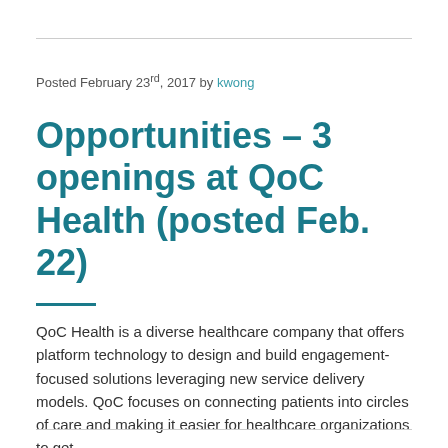Posted February 23rd, 2017 by kwong
Opportunities – 3 openings at QoC Health (posted Feb. 22)
QoC Health is a diverse healthcare company that offers platform technology to design and build engagement-focused solutions leveraging new service delivery models. QoC focuses on connecting patients into circles of care and making it easier for healthcare organizations to get...